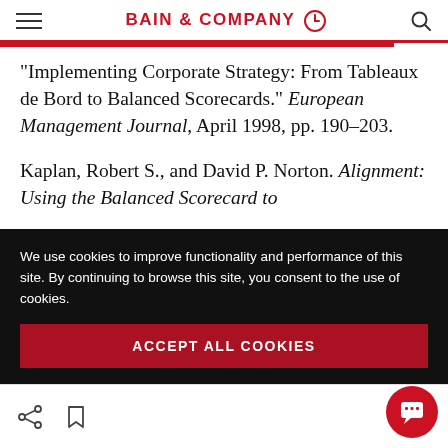BAIN & COMPANY
“Implementing Corporate Strategy: From Tableaux de Bord to Balanced Scorecards.” European Management Journal, April 1998, pp. 190–203.
Kaplan, Robert S., and David P. Norton. Alignment: Using the Balanced Scorecard to
We use cookies to improve functionality and performance of this site. By continuing to browse this site, you consent to the use of cookies.
ACCEPT ALL COOKIES